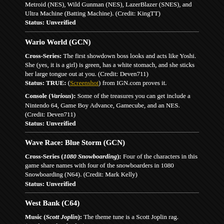Metroid (NES), Wild Gunman (NES), LazerBlazer (SNES), and Ultra Machine (Batting Machine). (Credit: KingTT)
Status: Unverified
Wario World (GCN)
Cross-Series: The first showdown boss looks and acts like Yoshi. She (yes, it is a girl) is green, has a white stomach, and she sticks her large tongue out at you. (Credit: Deven711)
Status: TRUE: (Screenshot) from IGN.com proves it.
Console (Various): Some of the treasures you can get include a Nintendo 64, Game Boy Advance, Gamecube, and an NES. (Credit: Deven711)
Status: Unverified
Wave Race: Blue Storm (GCN)
Cross-Series (1080 Snowboarding): Four of the characters in this game share names with four of the snowboarders in 1080 Snowboarding (N64). (Credit: Mark Kelly)
Status: Unverified
West Bank (C64)
Music (Scott Joplin): The theme tune is a Scott Joplin rag. (Credit: Andy Thorley)